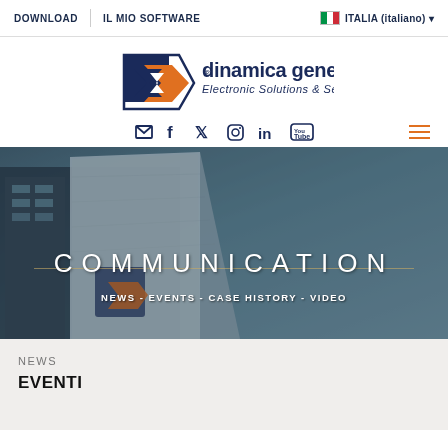DOWNLOAD | IL MIO SOFTWARE | ITALIA (italiano)
[Figure (logo): Dinamica Generale logo — blue and orange stylized 'dg' icon with text 'dinamica generale® Electronic Solutions & Sensors']
[Figure (infographic): Social media icons row: email/envelope, Facebook, Twitter, Instagram, LinkedIn, YouTube. Hamburger menu icon on the right (orange lines).]
[Figure (photo): Hero banner showing the Dinamica Generale building exterior from below, teal/blue-grey tones, with large overlay text 'COMMUNICATION' and subtitle 'NEWS - EVENTS - CASE HISTORY - VIDEO']
COMMUNICATION
NEWS - EVENTS - CASE HISTORY - VIDEO
NEWS
EVENTI